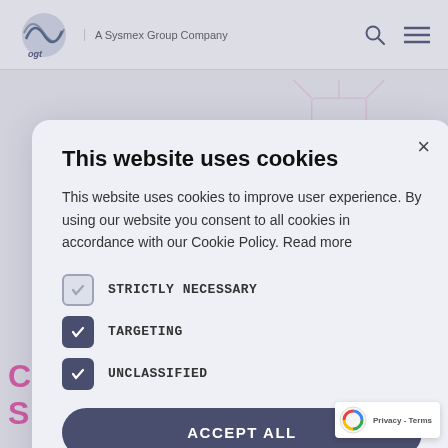ogt | A Sysmex Group Company
This website uses cookies
This website uses cookies to improve user experience. By using our website you consent to all cookies in accordance with our Cookie Policy. Read more
STRICTLY NECESSARY
TARGETING
UNCLASSIFIED
ACCEPT ALL
SHOW DETAILS
design and hip with you, requirem atalogue product, to a completely new and innovative project, can be confident that our expert team will design and